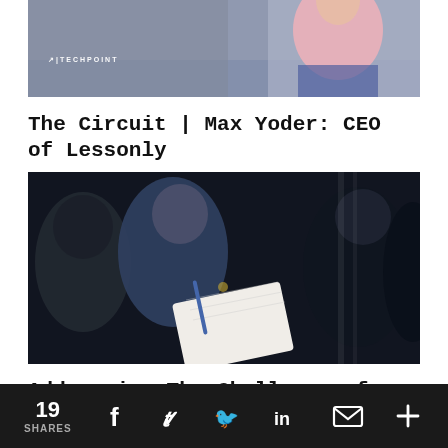[Figure (photo): Photo of a speaker at a Techpoint event, person wearing pink shirt, Techpoint logo watermark in lower left]
The Circuit | Max Yoder: CEO of Lessonly
[Figure (photo): Dark photo of audience members seated in chairs, one person holding open notebook with pen, other attendees visible in dimly lit event space]
Addressing The Challenge of Hiring Mid-Career Tech Professionals
19 SHARES  f  [twitter]  in  [email]  +